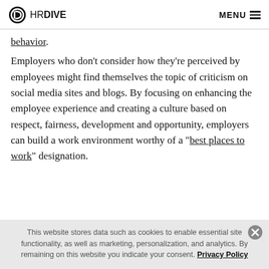HR DIVE   MENU
behavior.
Employers who don't consider how they're perceived by employees might find themselves the topic of criticism on social media sites and blogs. By focusing on enhancing the employee experience and creating a culture based on respect, fairness, development and opportunity, employers can build a work environment worthy of a “best places to work” designation.
This website stores data such as cookies to enable essential site functionality, as well as marketing, personalization, and analytics. By remaining on this website you indicate your consent. Privacy Policy